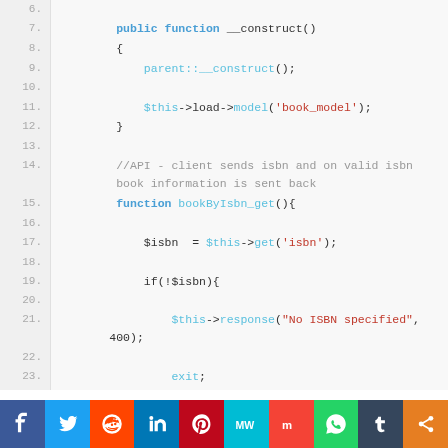[Figure (screenshot): PHP code snippet showing a CodeIgniter controller with a constructor loading a book model, and a bookByIsbn_get() REST API function that validates an ISBN parameter and returns book information. Lines 6-27+ are visible. Social sharing bar at bottom with Facebook, Twitter, Reddit, LinkedIn, Pinterest, MeWe, Mix, WhatsApp, Tumblr, Share icons.]